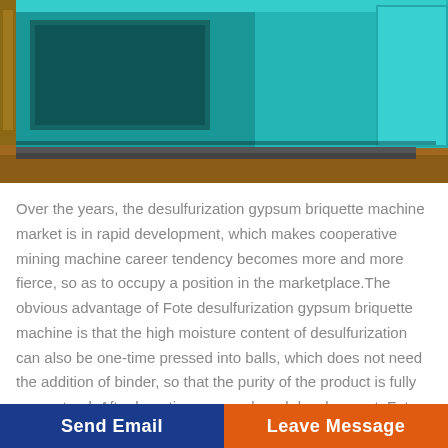[Figure (photo): Photo of a teal/turquoise colored industrial desulfurization gypsum briquette machine on a factory floor]
Over the years, the desulfurization gypsum briquette machine market is in rapid development, which makes cooperative mining machine career tendency becomes more and more fierce, so as to occupy a position in the marketplace.The obvious advantage of Fote desulfurization gypsum briquette machine is that the high moisture content of desulfurization can also be one-time pressed into balls, which does not need the addition of binder, so that the purity of the product is fully guaranteed. After long-time research and development, Fote Machinery has successfully applied new materials to desulfurization gypsum briquette machine, which has largely reduced
Send Email    Leave Message